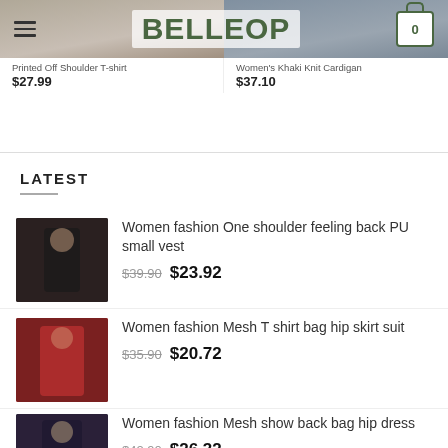BELLEOP
[Figure (photo): Partially visible product images at top: left shows a model in a printed off shoulder t-shirt, right shows a women's khaki knit cardigan]
Printed Off Shoulder T-shirt
$27.99
Women's Khaki Knit Cardigan
$37.10
LATEST
[Figure (photo): Thumbnail of a model wearing a black one shoulder back PU small vest]
Women fashion One shoulder feeling back PU small vest
$39.90  $23.92
[Figure (photo): Thumbnail of a model wearing a red mesh T shirt bag hip skirt suit]
Women fashion Mesh T shirt bag hip skirt suit
$35.90  $20.72
[Figure (photo): Thumbnail of a model wearing a mesh show back bag hip dress]
Women fashion Mesh show back bag hip dress
$42.90  $26.32